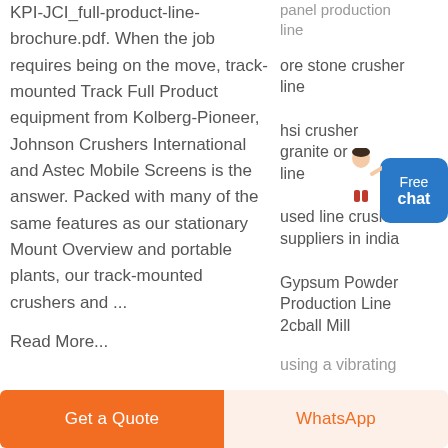KPI-JCI_full-product-line-brochure.pdf. When the job requires being on the move, track-mounted Track Full Product equipment from Kolberg-Pioneer, Johnson Crushers International and Astec Mobile Screens is the answer. Packed with many of the same features as our stationary Mount Overview and portable plants, our track-mounted crushers and ...
Read More...
panel production line
ore stone crusher line
hsi crusher granite or line
used line crusher suppliers in india
Gypsum Powder Production Line 2cball Mill
using a vibrating
[Figure (illustration): Customer service avatar figure with arm extended, next to a blue 'Free chat' button]
Get a Quote
WhatsApp